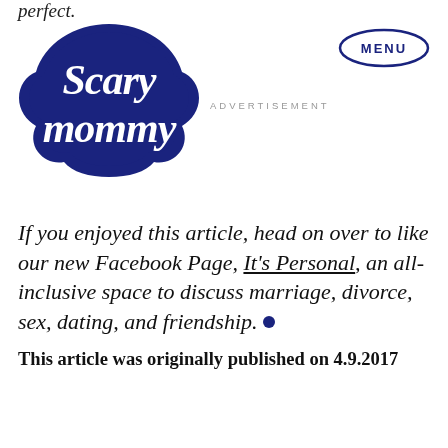perfect.
[Figure (logo): Scary Mommy logo in dark navy blue script lettering inside a cloud/badge shape]
ADVERTISEMENT
[Figure (other): MENU button — oval/ellipse outline with MENU text in dark navy]
If you enjoyed this article, head on over to like our new Facebook Page, It's Personal, an all-inclusive space to discuss marriage, divorce, sex, dating, and friendship. ●
This article was originally published on 4.9.2017